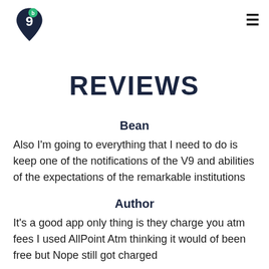[Figure (logo): V9/Bean app logo — dark navy teardrop/pin shape with the number 9, and a small green circle with 'b' letter at top]
REVIEWS
Bean
Also I'm going to everything that I need to do is keep one of the notifications of the V9 and abilities of the expectations of the remarkable institutions
Author
It's a good app only thing is they charge you atm fees I used AllPoint Atm thinking it would of been free but Nope still got charged